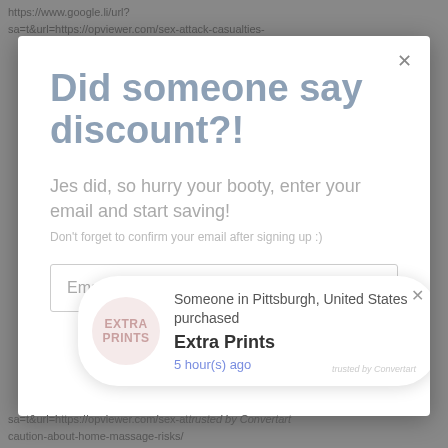https://www.google.li/url?sa=t&url=https://opviewer.com/sex-attack-casualties-
Did someone say discount?!
Jes did, so hurry your booty, enter your email and start saving!
Don't forget to confirm your email after signing up :)
Email address
[Figure (screenshot): Toast notification popup showing someone in Pittsburgh, United States purchased Extra Prints, 5 hour(s) ago. Contains a circular icon with text EXTRA PRINTS and a close button.]
sa=t&url=https://opviewer.com/sex-at... caution-about-home-massage-risks/
trusted by Convertart